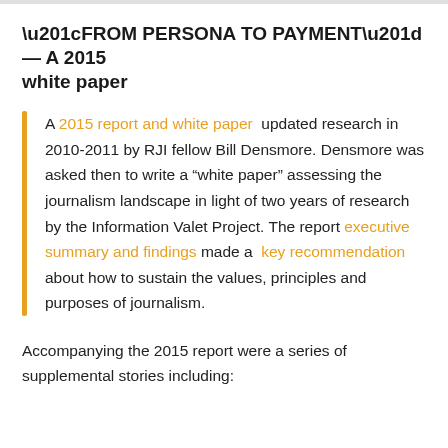“FROM PERSONA TO PAYMENT” — A 2015 white paper
A 2015 report and white paper updated research in 2010-2011 by RJI fellow Bill Densmore. Densmore was asked then to write a “white paper” assessing the journalism landscape in light of two years of research by the Information Valet Project. The report executive summary and findings made a key recommendation about how to sustain the values, principles and purposes of journalism.
Accompanying the 2015 report were a series of supplemental stories including: